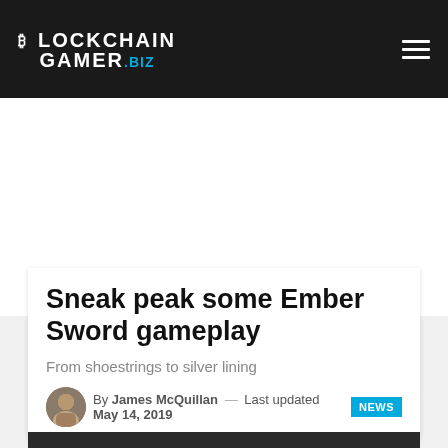BLOCKCHAIN GAMER.BIZ
Sneak peak some Ember Sword gameplay
From shoestrings to silver lining
By James McQuillan — Last updated May 14, 2019 NEWS